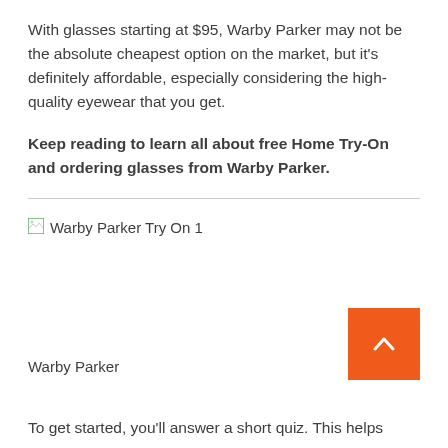With glasses starting at $95, Warby Parker may not be the absolute cheapest option on the market, but it's definitely affordable, especially considering the high-quality eyewear that you get.
Keep reading to learn all about free Home Try-On and ordering glasses from Warby Parker.
[Figure (photo): Broken image placeholder for 'Warby Parker Try On 1']
Warby Parker
To get started, you'll answer a short quiz. This helps